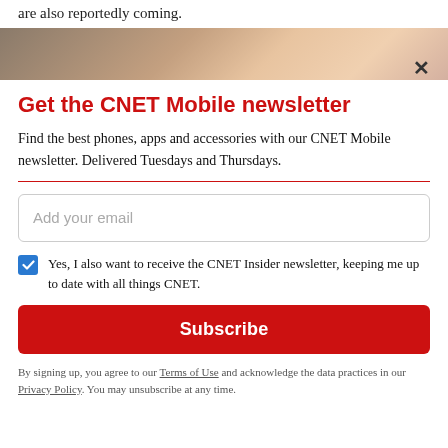are also reportedly coming.
[Figure (photo): Partial photo of a hand holding a phone, cropped at top]
Get the CNET Mobile newsletter
Find the best phones, apps and accessories with our CNET Mobile newsletter. Delivered Tuesdays and Thursdays.
Add your email
Yes, I also want to receive the CNET Insider newsletter, keeping me up to date with all things CNET.
Subscribe
By signing up, you agree to our Terms of Use and acknowledge the data practices in our Privacy Policy. You may unsubscribe at any time.